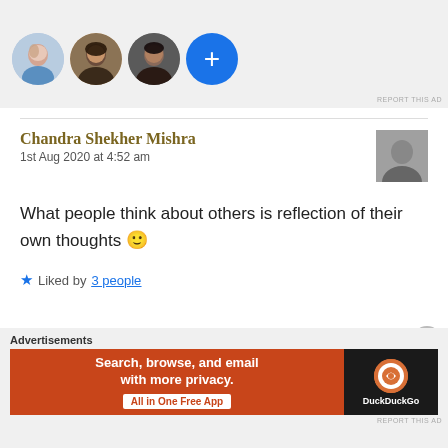[Figure (illustration): Four circular avatar images in a row: three profile photos and one blue plus button, shown on a light gray background as part of a social/comment UI.]
REPORT THIS AD
Chandra Shekher Mishra
1st Aug 2020 at 4:52 am
What people think about others is reflection of their own thoughts 🙂
★ Liked by 3 people
Advertisements
[Figure (screenshot): DuckDuckGo advertisement banner: orange-red left panel with text 'Search, browse, and email with more privacy. All in One Free App' and dark right panel with DuckDuckGo logo and name.]
REPORT THIS AD